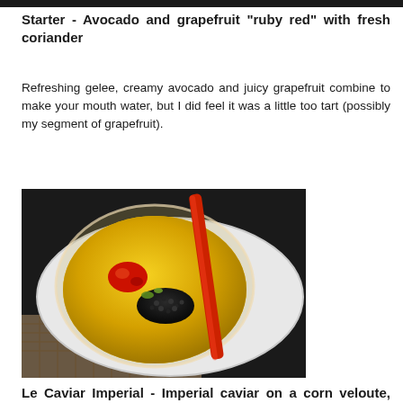Starter - Avocado and grapefruit "ruby red" with fresh coriander
Refreshing gelee, creamy avocado and juicy grapefruit combine to make your mouth water, but I did feel it was a little too tart (possibly my segment of grapefruit).
[Figure (photo): Photo of Le Caviar Imperial dish - a glass bowl containing yellow corn veloute with imperial caviar, red tomato garnish, and herbs on a white plate, with a red spoon]
Le Caviar Imperial - Imperial caviar on a corn veloute, with shivering beef jelly